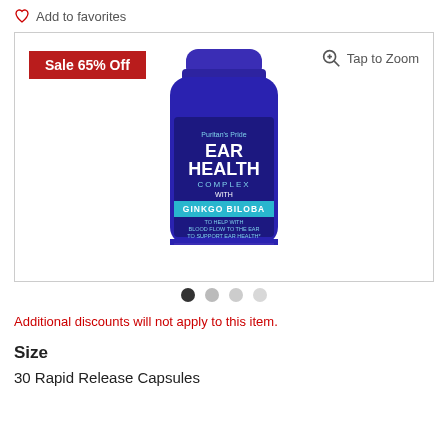Add to favorites
[Figure (photo): Blue bottle of Puritan's Pride Ear Health Complex with Ginkgo Biloba, 30 Rapid Release Capsules, with a sale badge reading Sale 65% Off and a Tap to Zoom icon.]
Additional discounts will not apply to this item.
Size
30 Rapid Release Capsules